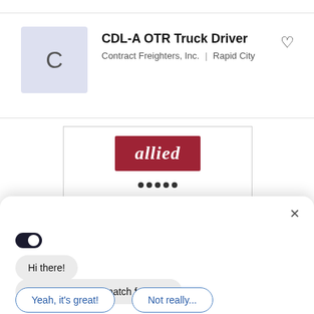CDL-A OTR Truck Driver
Contract Freighters, Inc. | Rapid City
[Figure (logo): Allied company logo — white italic bold text on dark red/crimson background rectangle]
Hi there!
Is this job a good match for you?
Yeah, it's great!
Not really...